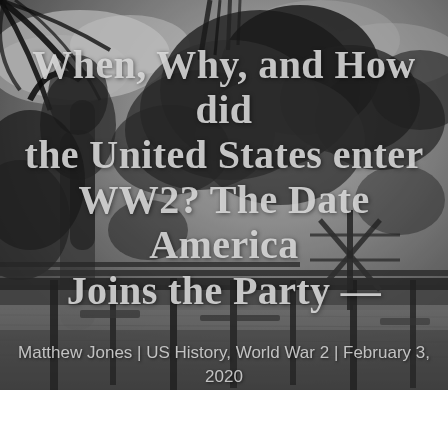[Figure (photo): Black and white photograph of Pearl Harbor attack showing smoke, fire, damaged dock/pier structures in water, and palm tree silhouette at top]
When, Why, and How did the United States enter WW2? The Date America Joins the Party
Matthew Jones | US History, World War 2 | February 3, 2020